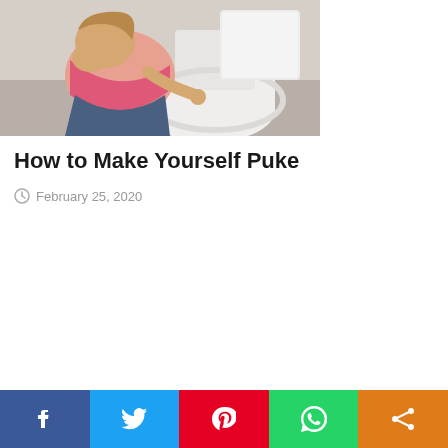[Figure (photo): A woman in a pink shirt kneeling over a white toilet, appearing to be vomiting or about to vomit.]
How to Make Yourself Puke
February 25, 2020
[Figure (infographic): Social media share bar with Facebook, Twitter, Pinterest, WhatsApp, and Share buttons]